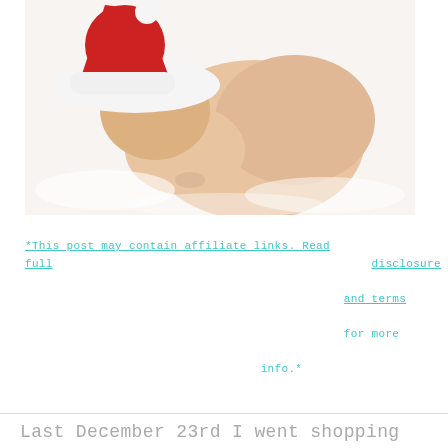[Figure (photo): A newborn baby wearing a red and white Santa hat, lying curled on a white fluffy background, photographed from above.]
*This post may contain affiliate links. Read full disclosure and terms for more info.*
Last December 23rd I went shopping